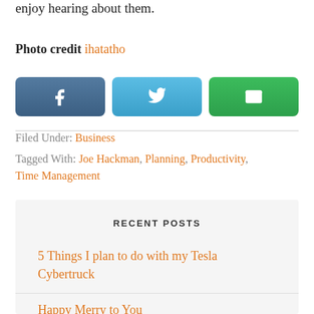enjoy hearing about them.
Photo credit ihatatho
[Figure (infographic): Three social share buttons: Facebook (dark blue with f icon), Twitter (light blue with bird icon), Email (green with envelope icon)]
Filed Under: Business
Tagged With: Joe Hackman, Planning, Productivity, Time Management
RECENT POSTS
5 Things I plan to do with my Tesla Cybertruck
Happy Merry to You